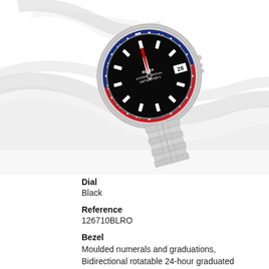[Figure (photo): Rolex GMT-Master II watch with two-colour red and blue Cerachrom bezel (Pepsi), black dial showing date 28, jubilee bracelet, photographed at an angle on a white curved ribbon background]
Dial
Black
Reference
126710BLRO
Bezel
Moulded numerals and graduations, Bidirectional rotatable 24-hour graduated bezel. Two-colour red and blue Cerachrom insert in ceramic